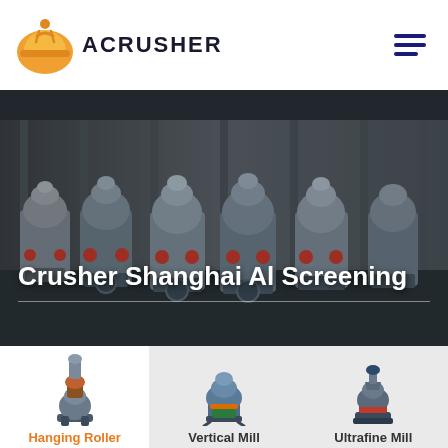[Figure (logo): Acrusher logo: orange hard-hat icon with stylized figure, text ACRUSHER in bold dark letters]
[Figure (photo): Industrial factory floor showing rows of large grey grinding/milling machines in a manufacturing facility]
Crusher Shanghai Al Screening
[Figure (photo): Hanging Roller Mill machine product photo]
Hanging Roller Mill
[Figure (photo): Vertical Mill machine product photo]
Vertical Mill
[Figure (photo): Ultrafine Mill machine product photo]
Ultrafine Mill